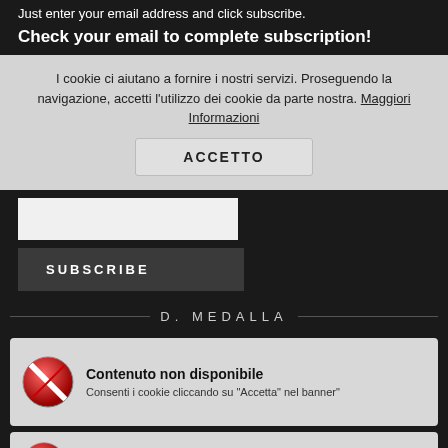Just enter your email address and click subscribe.
Check your email to complete subscription!
I cookie ci aiutano a fornire i nostri servizi. Proseguendo la navigazione, accetti l'utilizzo dei cookie da parte nostra. Maggiori Informazioni
ACCETTO
SUBSCRIBE
D. MEDALLA
Contenuto non disponibile
Consenti i cookie cliccando su "Accetta" nel banner"
Contenuto non disponibile